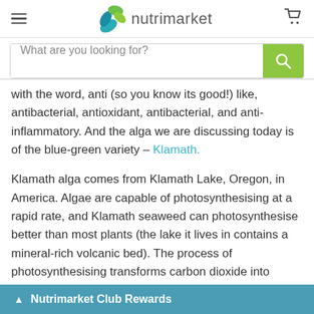[Figure (logo): Nutrimarket logo with green and teal leaf icon and the text nutrimarket in grey]
What are you looking for?
with the word, anti (so you know its good!) like, antibacterial, antioxidant, antibacterial, and anti-inflammatory. And the alga we are discussing today is of the blue-green variety – Klamath.
Klamath alga comes from Klamath Lake, Oregon, in America. Algae are capable of photosynthesising at a rapid rate, and Klamath seaweed can photosynthesise better than most plants (the lake it lives in contains a mineral-rich volcanic bed). The process of photosynthesising transforms carbon dioxide into oxygen and compounds full of energy, which may be why erals!
Nutrimarket Club Rewards